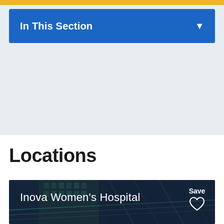In This Section
Locations
[Figure (photo): Inova Women's Hospital building exterior photograph shown at night with glass canopy and structural elements, with a 'Save' heart icon overlay in the upper right.]